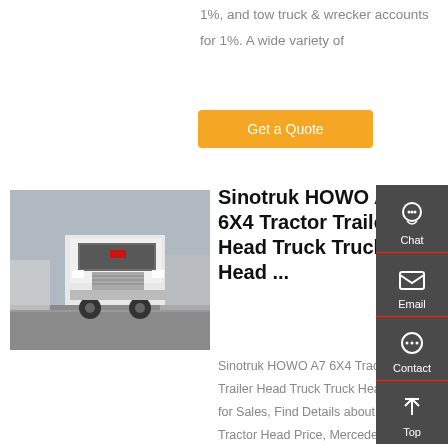1%, and tow truck & wrecker accounts for 1%. A wide variety of
[Figure (other): Orange 'Get a Quote' button]
[Figure (photo): Sinotruk HOWO A7 6X4 Tractor Trailer Head Truck front view photo]
Sinotruk HOWO A7 6X4 Tractor Trailer Head Truck Truck Head ...
Sinotruk HOWO A7 6X4 Tractor Trailer Head Truck Truck Head Price for Sales, Find Details about HOWO Tractor Head Price, Mercedes Truck Actros from Sinotruk HOWO A7 6X4
[Figure (other): Right sidebar with Chat, Email, Contact, Top icons on dark grey background]